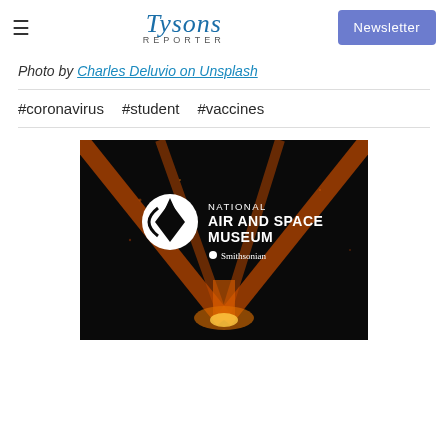Tysons Reporter | Newsletter
Photo by Charles Deluvio on Unsplash
#coronavirus  #student  #vaccines
[Figure (logo): National Air and Space Museum Smithsonian logo on a dark background with orange light rays]